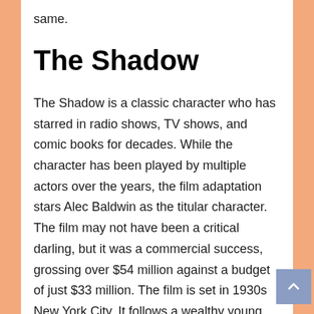same.
The Shadow
The Shadow is a classic character who has starred in radio shows, TV shows, and comic books for decades. While the character has been played by multiple actors over the years, the film adaptation stars Alec Baldwin as the titular character. The film may not have been a critical darling, but it was a commercial success, grossing over $54 million against a budget of just $33 million. The film is set in 1930s New York City. It follows a wealthy young man named Lamont Cranston who discovers that he has psychic powers. He uses his new